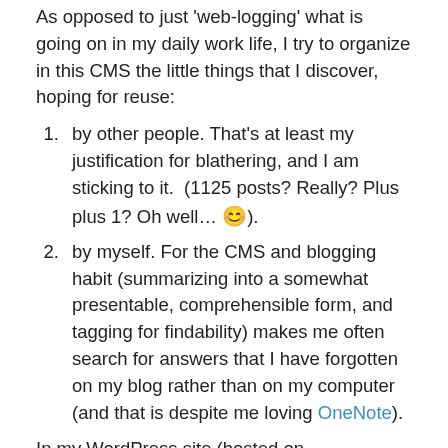As opposed to just 'web-logging' what is going on in my daily work life, I try to organize in this CMS the little things that I discover, hoping for reuse:
by other people. That's at least my justification for blathering, and I am sticking to it.  (1125 posts? Really? Plus plus 1? Oh well… 😊).
by myself. For the CMS and blogging habit (summarizing into a somewhat presentable, comprehensible form, and tagging for findability) makes me often search for answers that I have forgotten on my blog rather than on my computer (and that is despite me loving OneNote).
In my WordPress site (hosted on wordpress.com), I can see site visitor statistics like in the picture below: Includes search terms which led to clicks on one of my